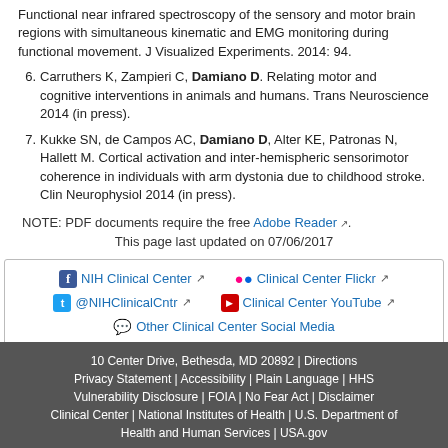Functional near infrared spectroscopy of the sensory and motor brain regions with simultaneous kinematic and EMG monitoring during functional movement. J Visualized Experiments. 2014: 94.
Carruthers K, Zampieri C, Damiano D. Relating motor and cognitive interventions in animals and humans. Trans Neuroscience 2014 (in press).
Kukke SN, de Campos AC, Damiano D, Alter KE, Patronas N, Hallett M. Cortical activation and inter-hemispheric sensorimotor coherence in individuals with arm dystonia due to childhood stroke. Clin Neurophysiol 2014 (in press).
NOTE: PDF documents require the free Adobe Reader.
This page last updated on 07/06/2017
NIH Clinical Center | Clinical Center Flickr | @NIHClinicalCntr | Clinical Center YouTube | Other Clinical Center Social Media
10 Center Drive, Bethesda, MD 20892 | Directions | Privacy Statement | Accessibility | Plain Language | HHS Vulnerability Disclosure | FOIA | No Fear Act | Disclaimer | Clinical Center | National Institutes of Health | U.S. Department of Health and Human Services | USA.gov